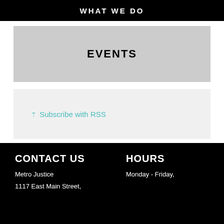WHAT WE DO
EVENTS
Subscribe with RSS
CONTACT US
Metro Justice
1117 East Main Street,
HOURS
Monday - Friday,